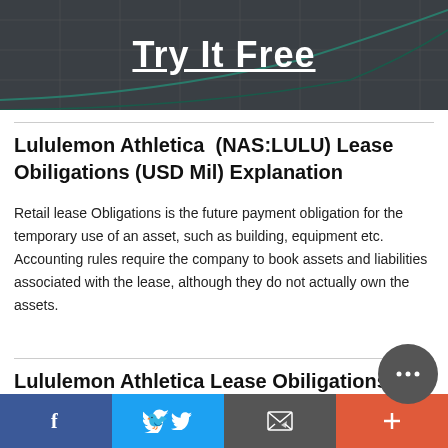[Figure (other): Dark gray banner with 'Try It Free' text in white bold underlined font, with faint curve lines in background]
Lululemon Athletica  (NAS:LULU) Lease Obiligations (USD Mil) Explanation
Retail lease Obligations is the future payment obligation for the temporary use of an asset, such as building, equipment etc. Accounting rules require the company to book assets and liabilities associated with the lease, although they do not actually own the assets.
Lululemon Athletica Lease Obiligations (USD Mil) Related Terms